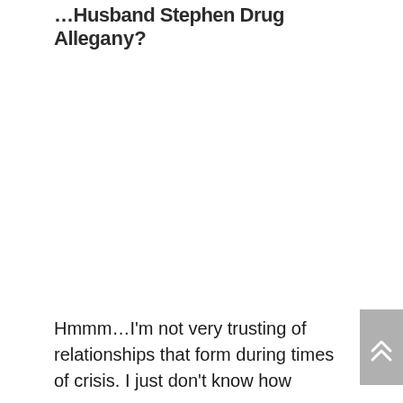...Husband Stephen Drug Allegany?
Hmmm…I'm not very trusting of relationships that form during times of crisis. I just don't know how